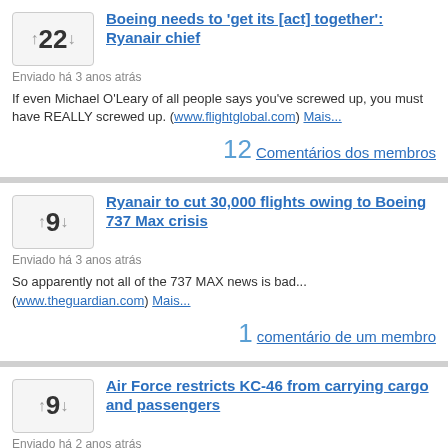Boeing needs to 'get its [act] together': Ryanair chief
Enviado há 3 anos atrás
If even Michael O'Leary of all people says you've screwed up, you must have REALLY screwed up. (www.flightglobal.com) Mais...
12 Comentários dos membros
Ryanair to cut 30,000 flights owing to Boeing 737 Max crisis
Enviado há 3 anos atrás
So apparently not all of the 737 MAX news is bad... (www.theguardian.com) Mais...
1 comentário de um membro
Air Force restricts KC-46 from carrying cargo and passengers
Enviado há 2 anos atrás